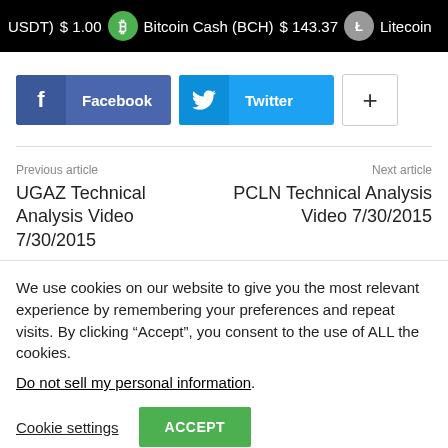USDT) $1.00 Bitcoin Cash (BCH) $143.37 Litecoin
[Figure (screenshot): Social share buttons: Facebook, Twitter, and a plus button]
Previous article
UGAZ Technical Analysis Video 7/30/2015
Next article
PCLN Technical Analysis Video 7/30/2015
We use cookies on our website to give you the most relevant experience by remembering your preferences and repeat visits. By clicking "Accept", you consent to the use of ALL the cookies.
Do not sell my personal information.
Cookie settings   ACCEPT